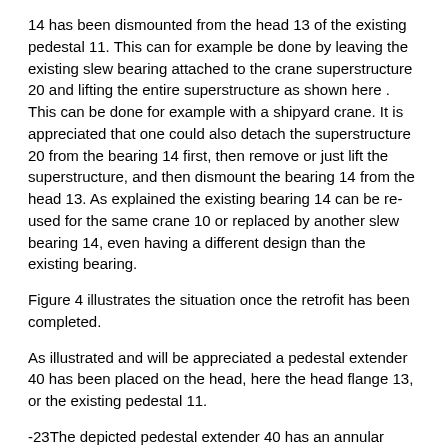14 has been dismounted from the head 13 of the existing pedestal 11. This can for example be done by leaving the existing slew bearing attached to the crane superstructure 20 and lifting the entire superstructure as shown here . This can be done for example with a shipyard crane. It is appreciated that one could also detach the superstructure 20 from the bearing 14 first, then remove or just lift the superstructure, and then dismount the bearing 14 from the head 13. As explained the existing bearing 14 can be re-used for the same crane 10 or replaced by another slew bearing 14, even having a different design than the existing bearing.
Figure 4 illustrates the situation once the retrofit has been completed.
As illustrated and will be appreciated a pedestal extender 40 has been placed on the head, here the head flange 13, or the existing pedestal 11.
-23The depicted pedestal extender 40 has an annular main body 41 with a circular flange on the lower end, said circular flange forming the foot 42 of the extender, and with